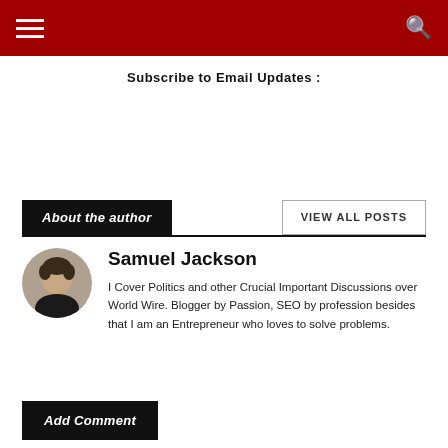Navigation bar with hamburger menu and search icon
Subscribe to Email Updates :
About the author
VIEW ALL POSTS
[Figure (photo): Circular avatar photo of a man in a dark shirt]
Samuel Jackson
I Cover Politics and other Crucial Important Discussions over World Wire. Blogger by Passion, SEO by profession besides that I am an Entrepreneur who loves to solve problems.
Add Comment